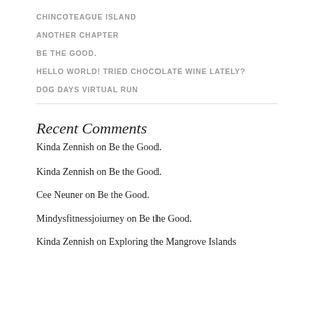CHINCOTEAGUE ISLAND
ANOTHER CHAPTER
BE THE GOOD.
HELLO WORLD! TRIED CHOCOLATE WINE LATELY?
DOG DAYS VIRTUAL RUN
Recent Comments
Kinda Zennish on Be the Good.
Kinda Zennish on Be the Good.
Cee Neuner on Be the Good.
Mindysfitnessjoiurney on Be the Good.
Kinda Zennish on Exploring the Mangrove Islands